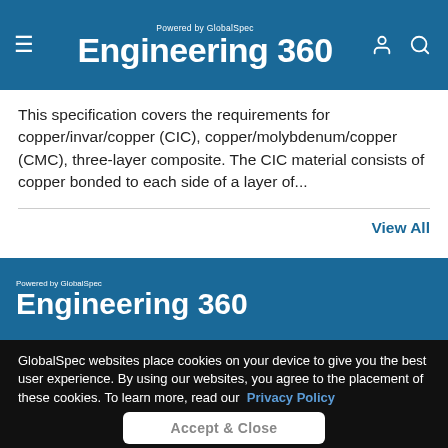Engineering 360 — Powered by GlobalSpec
This specification covers the requirements for copper/invar/copper (CIC), copper/molybdenum/copper (CMC), three-layer composite. The CIC material consists of copper bonded to each side of a layer of...
View All
Engineering 360 — Powered by GlobalSpec
GlobalSpec websites place cookies on your device to give you the best user experience. By using our websites, you agree to the placement of these cookies. To learn more, read our Privacy Policy
Accept & Close